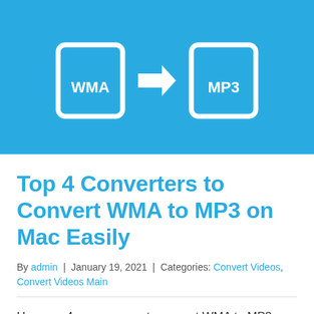[Figure (illustration): Blue banner with WMA file icon, arrow pointing right, and MP3 file icon, representing WMA to MP3 conversion]
Top 4 Converters to Convert WMA to MP3 on Mac Easily
By admin | January 19, 2021 | Categories: Convert Videos, Convert Videos Main
Here are 4 proven ways to convert WMA to MP3 on Mac with different converters including an